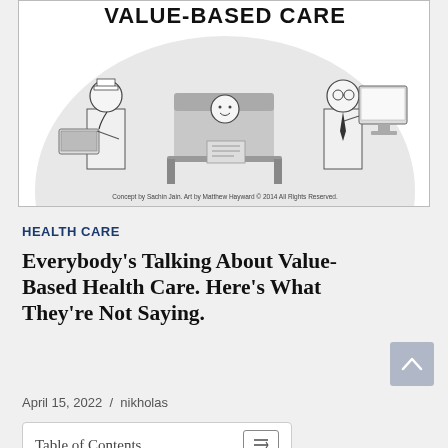[Figure (illustration): Cartoon illustration titled VALUE-BASED CARE showing two doctors facing away from a patient in a hospital bed, each looking at their own computer/laptop. Caption reads: Concept by Sachin Jain. Art by Matthew Hayward © 2014 All Rights Reserved.]
Concept by Sachin Jain. Art by Matthew Hayward © 2014 All Rights Reserved.
HEALTH CARE
Everybody's Talking About Value-Based Health Care. Here's What They're Not Saying.
April 15, 2022  /  nikholas
Table of Contents